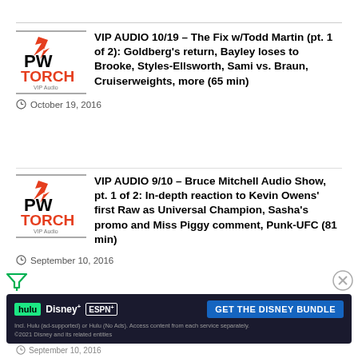[Figure (logo): PW Torch VIP Audio logo]
VIP AUDIO 10/19 – The Fix w/Todd Martin (pt. 1 of 2): Goldberg's return, Bayley loses to Brooke, Styles-Ellsworth, Sami vs. Braun, Cruiserweights, more (65 min)
October 19, 2016
[Figure (logo): PW Torch VIP Audio logo]
VIP AUDIO 9/10 – Bruce Mitchell Audio Show, pt. 1 of 2: In-depth reaction to Kevin Owens' first Raw as Universal Champion, Sasha's promo and Miss Piggy comment, Punk-UFC (81 min)
September 10, 2016
[Figure (logo): PW Torch VIP Audio logo (partially visible)]
VIP AUDIO 9/10 – Bruce Mitchell Audio Show, pt. 1 of 2: In-depth reaction to Kevin Owens' first Raw as Universal Champion, Sasha's promo and Miss Piggy comment, Punk-UFC (81 min)
September 10, 2016
[Figure (infographic): Disney Bundle advertisement banner: hulu, Disney+, ESPN+ – GET THE DISNEY BUNDLE]